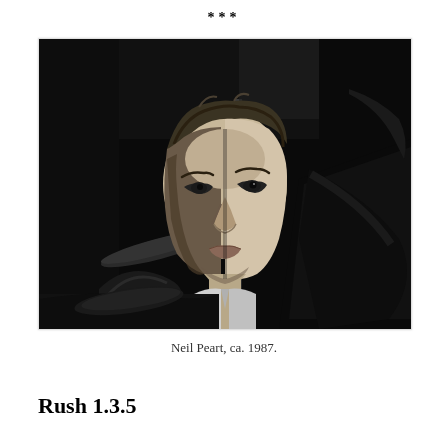***
[Figure (photo): Black and white photograph of Neil Peart, a man with short tousled hair, gazing intensely at the camera. Drum equipment is visible in the background and foreground, including cymbals and drum hardware. The lighting is dramatic with high contrast.]
Neil Peart, ca. 1987.
Rush 1.3.5